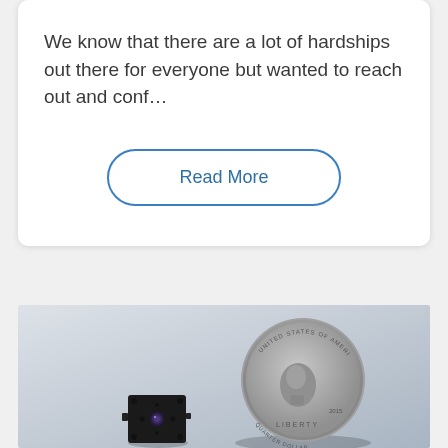We know that there are a lot of hardships out there for everyone but wanted to reach out and conf...
Read More
[Figure (photo): A small black electronic camera module next to a US quarter coin for size comparison, photographed on a light gray background.]